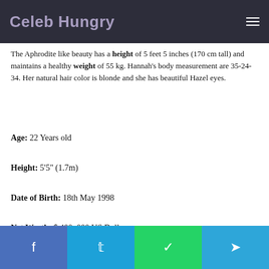Celeb Hungry
The Aphrodite like beauty has a height of 5 feet 5 inches (170 cm tall) and maintains a healthy weight of 55 kg. Hannah's body measurement are 35-24-34. Her natural hair color is blonde and she has beautiful Hazel eyes.
Age: 22 Years old
Height: 5'5" (1.7m)
Date of Birth: 18th May 1998
Net Worth: $ 400, 000 US Dollars
Social share bar: Facebook, Twitter, WhatsApp, Telegram